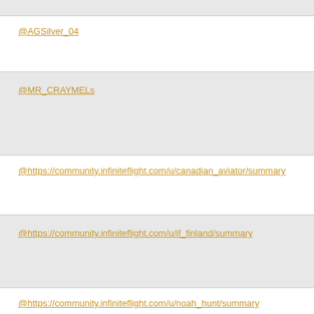@AGSilver_04
@MR_CRAYMELs
@https://community.infiniteflight.com/u/canadian_aviator/summary
@https://community.infiniteflight.com/u/if_finland/summary
@https://community.infiniteflight.com/u/noah_hunt/summary